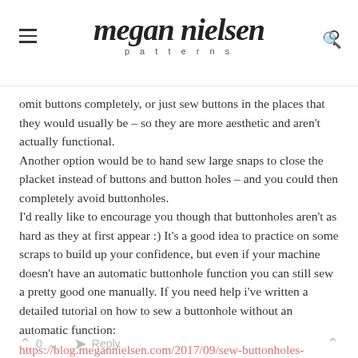megan nielsen patterns
omit buttons completely, or just sew buttons in the places that they would usually be – so they are more aesthetic and aren't actually functional.
Another option would be to hand sew large snaps to close the placket instead of buttons and button holes – and you could then completely avoid buttonholes.
I'd really like to encourage you though that buttonholes aren't as hard as they at first appear :) It's a good idea to practice on some scraps to build up your confidence, but even if your machine doesn't have an automatic buttonhole function you can still sew a pretty good one manually. If you need help i've written a detailed tutorial on how to sew a buttonhole without an automatic function:
https://blog.megannielsen.com/2017/09/sew-buttonholes-without-automatic-function/
I really hope that helps!